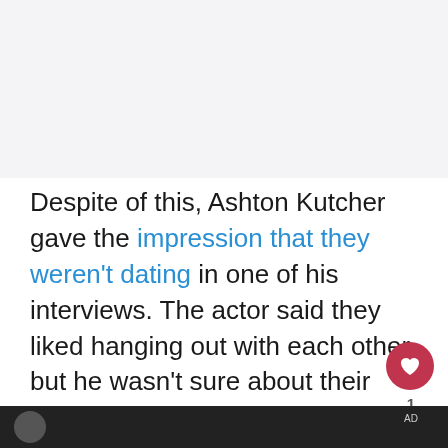[Figure (photo): Light gray placeholder image area at the top of the page]
Despite of this, Ashton Kutcher gave the impression that they weren't dating in one of his interviews. The actor said they liked hanging out with each other, but he wasn't sure about their relationship status.
[Figure (photo): Dark bottom strip showing a partial photograph]